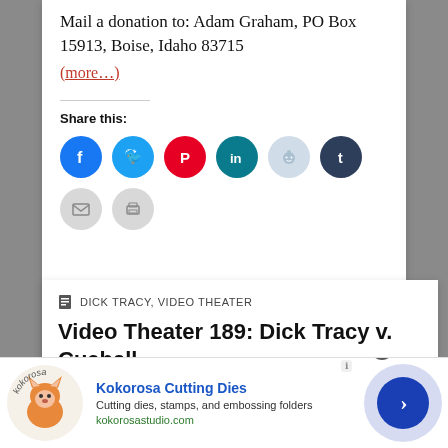Mail a donation to: Adam Graham, PO Box 15913, Boise, Idaho 83715
(more…)
Share this:
[Figure (infographic): Row of social sharing icon circles: Facebook (blue), Twitter (light blue), Pinterest (red), LinkedIn (teal), Reddit (light blue-grey), Tumblr (dark navy), Email (light grey), Print (light grey)]
DICK TRACY, VIDEO THEATER
Video Theater 189: Dick Tracy v. Cueball
[Figure (infographic): Advertisement for Kokorosa Cutting Dies with logo, text 'Cutting dies, stamps, and embossing folders', URL kokorosastudio.com, and a navigation arrow button]